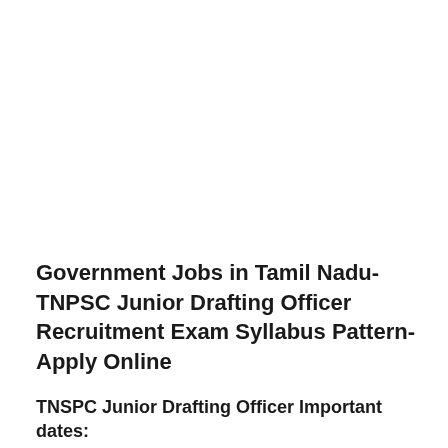Government Jobs in Tamil Nadu-TNPSC Junior Drafting Officer Recruitment Exam Syllabus Pattern-Apply Online
TNSPC Junior Drafting Officer Important dates:
Online form available from: 05-03-2021